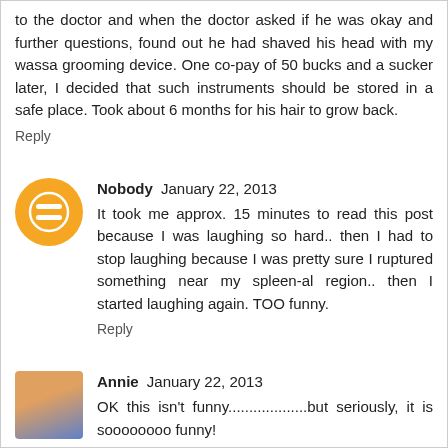to the doctor and when the doctor asked if he was okay and further questions, found out he had shaved his head with my wassa grooming device. One co-pay of 50 bucks and a sucker later, I decided that such instruments should be stored in a safe place. Took about 6 months for his hair to grow back.
Reply
Nobody  January 22, 2013
It took me approx. 15 minutes to read this post because I was laughing so hard.. then I had to stop laughing because I was pretty sure I ruptured something near my spleen-al region.. then I started laughing again. TOO funny.
Reply
Annie  January 22, 2013
OK this isn't funny...................but seriously, it is soooooooo funny!
Reply